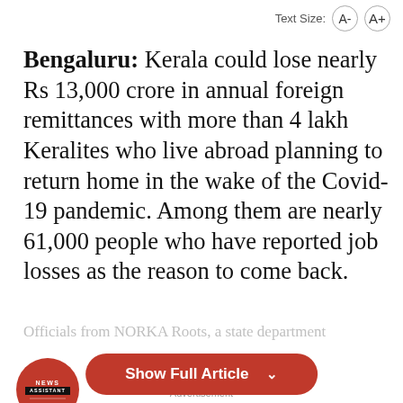Text Size: A- A+
Bengaluru: Kerala could lose nearly Rs 13,000 crore in annual foreign remittances with more than 4 lakh Keralites who live abroad planning to return home in the wake of the Covid-19 pandemic. Among them are nearly 61,000 people who have reported job losses as the reason to come back.
Officials from NORKA Roots, a state department
[Figure (other): Show Full Article button with chevron, orange/red rounded rectangle button]
[Figure (logo): News Assistant circular logo in red with speech bubble tail]
Subscribe to our channels on YouTube & Telegram
Advertisement